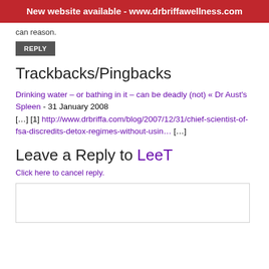New website available - www.drbriffawellness.com
can reason.
REPLY
Trackbacks/Pingbacks
Drinking water – or bathing in it – can be deadly (not) « Dr Aust's Spleen - 31 January 2008
[…] [1] http://www.drbriffa.com/blog/2007/12/31/chief-scientist-of-fsa-discredits-detox-regimes-without-usin… […]
Leave a Reply to LeeT
Click here to cancel reply.